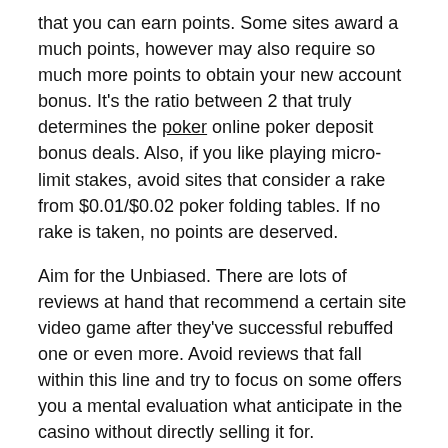that you can earn points. Some sites award a much points, however may also require so much more points to obtain your new account bonus. It's the ratio between 2 that truly determines the poker online poker deposit bonus deals. Also, if you like playing micro-limit stakes, avoid sites that consider a rake from $0.01/$0.02 poker folding tables. If no rake is taken, no points are deserved.
Aim for the Unbiased. There are lots of reviews at hand that recommend a certain site video game after they've successful rebuffed one or even more. Avoid reviews that fall within this line and try to focus on some offers you a mental evaluation what anticipate in the casino without directly selling it for.
best online casino
online casino real money